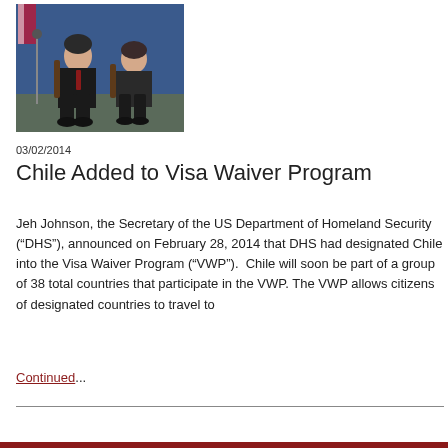[Figure (photo): Two people seated at a panel or press conference in front of a blue curtain with flags visible. A man in a dark suit with a red tie and a woman in a dark blazer are seated in chairs.]
03/02/2014
Chile Added to Visa Waiver Program
Jeh Johnson, the Secretary of the US Department of Homeland Security (“DHS”), announced on February 28, 2014 that DHS had designated Chile into the Visa Waiver Program (“VWP”).  Chile will soon be part of a group of 38 total countries that participate in the VWP. The VWP allows citizens of designated countries to travel to
Continued...